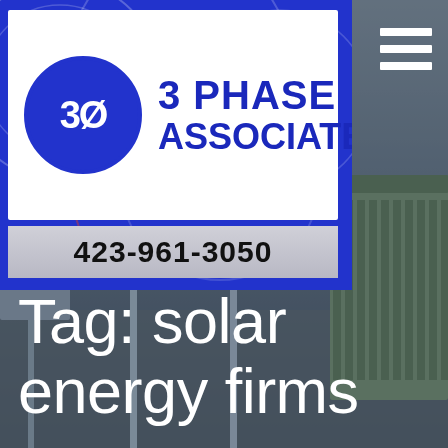[Figure (screenshot): Electrical power substation background with transformers, insulators, and steel structures in muted blue-grey tones]
[Figure (logo): 3 Phase Associates LLC logo: blue background with white circle containing '3Ø' in bold, with '3 PHASE ASSOCIATES LLC' text in dark blue, white logo box on blue banner background with decorative circles. Phone number 423-961-3050 on grey strip below logo.]
Tag: solar energy firms